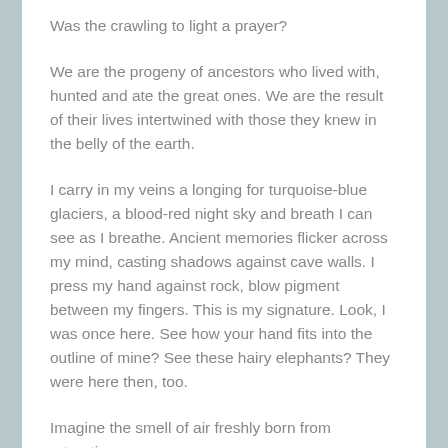Was the crawling to light a prayer?
We are the progeny of ancestors who lived with, hunted and ate the great ones. We are the result of their lives intertwined with those they knew in the belly of the earth.
I carry in my veins a longing for turquoise-blue glaciers, a blood-red night sky and breath I can see as I breathe. Ancient memories flicker across my mind, casting shadows against cave walls. I press my hand against rock, blow pigment between my fingers. This is my signature. Look, I was once here. See how your hand fits into the outline of mine? See these hairy elephants? They were here then, too.
Imagine the smell of air freshly born from retreating glaciers and the...